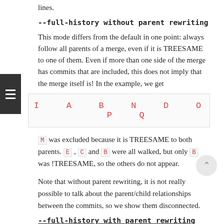lines.
--full-history without parent rewriting
This mode differs from the default in one point: always follow all parents of a merge, even if it is TREESAME to one of them. Even if more than one side of the merge has commits that are included, this does not imply that the merge itself is! In the example, we get
[Figure (other): Code box showing: I  A  B  N  D  O  P  Q in red monospace text]
M was excluded because it is TREESAME to both parents. E , C and B were all walked, but only B was !TREESAME, so the others do not appear.
Note that without parent rewriting, it is not really possible to talk about the parent/child relationships between the commits, so we show them disconnected.
--full-history with parent rewriting